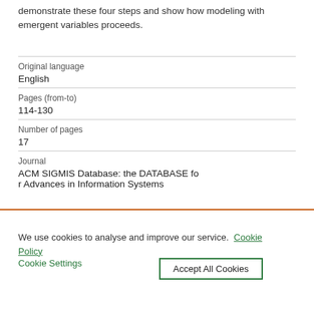demonstrate these four steps and show how modeling with emergent variables proceeds.
| Original language | English |
| Pages (from-to) | 114-130 |
| Number of pages | 17 |
| Journal | ACM SIGMIS Database: the DATABASE for Advances in Information Systems |
We use cookies to analyse and improve our service. Cookie Policy
Cookie Settings     Accept All Cookies